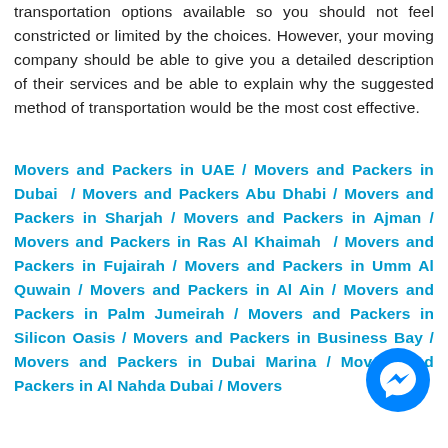transportation options available so you should not feel constricted or limited by the choices. However, your moving company should be able to give you a detailed description of their services and be able to explain why the suggested method of transportation would be the most cost effective.
Movers and Packers in UAE / Movers and Packers in Dubai / Movers and Packers Abu Dhabi / Movers and Packers in Sharjah / Movers and Packers in Ajman / Movers and Packers in Ras Al Khaimah / Movers and Packers in Fujairah / Movers and Packers in Umm Al Quwain / Movers and Packers in Al Ain / Movers and Packers in Palm Jumeirah / Movers and Packers in Silicon Oasis / Movers and Packers in Business Bay / Movers and Packers in Dubai Marina / Movers and Packers in Al Nahda Dubai / Movers
[Figure (illustration): Blue circular Facebook Messenger chat button icon in bottom right corner]